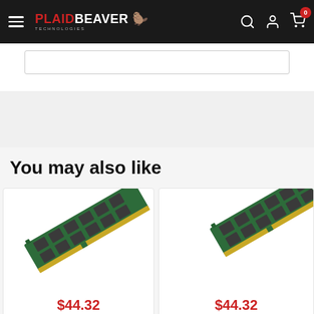PlaidBeaver Technologies — navigation bar with hamburger menu, logo, search, account, and cart (0 items)
You may also like
[Figure (photo): RAM memory stick (DDR2/DDR3 DIMM) shown at an angle on white background, price $44.32]
[Figure (photo): RAM memory stick (DDR2/DDR3 DIMM) shown at an angle on white background, partially cropped, price $44.32]